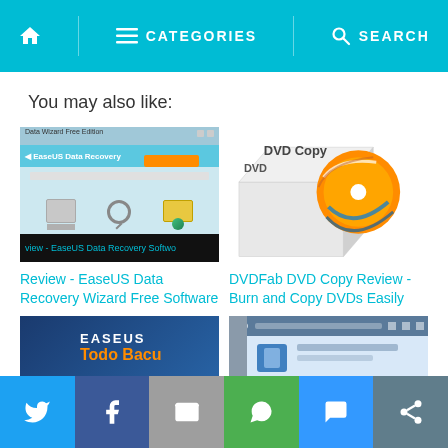🏠  CATEGORIES  🔍 SEARCH
You may also like:
[Figure (screenshot): Screenshot of EaseUS Data Recovery Wizard software with blue interface, drive icons, and orange button. Black banner at bottom reading 'view - EaseUS Data Recovery Softwo']
Review - EaseUS Data Recovery Wizard Free Software
[Figure (screenshot): DVDFab DVD Copy software box with orange/white DVD disc design on white background]
DVDFab DVD Copy Review - Burn and Copy DVDs Easily
[Figure (screenshot): EaseUS Todo Backup software promotional image with blue background, EASEUS logo and 'Todo Bacu' text visible]
[Figure (screenshot): Backup software interface screenshot with blue/grey window UI]
Twitter | Facebook | Email | WhatsApp | SMS | Other